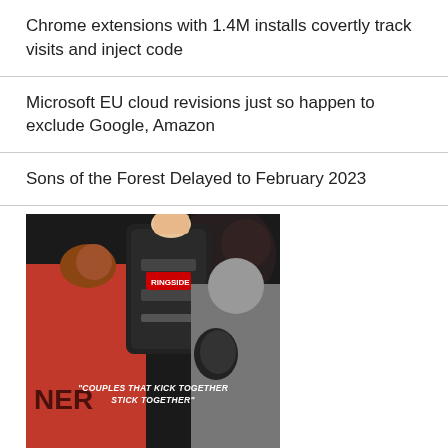Chrome extensions with 1.4M installs covertly track visits and inject code
Microsoft EU cloud revisions just so happen to exclude Google, Amazon
Sons of the Forest Delayed to February 2023
[Figure (photo): Advertisement image showing two people in boxing/martial arts training. One person in red jersey holding a training pad, another person punching. Text reads: 'COUPLES THAT KICK TOGETHER STICK TOGETHER'. Below the image: 'JOIN IN PAIRS & RECEIVE FREE REGISTRATION SCHEDULE YOUR FIRST WORKOUT FREE HERE']